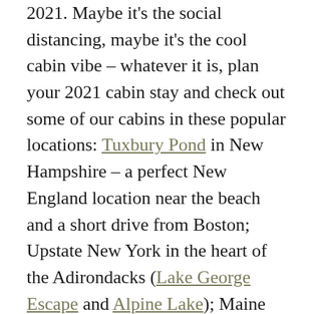2021. Maybe it's the social distancing, maybe it's the cool cabin vibe – whatever it is, plan your 2021 cabin stay and check out some of our cabins in these popular locations: Tuxbury Pond in New Hampshire – a perfect New England location near the beach and a short drive from Boston; Upstate New York in the heart of the Adirondacks (Lake George Escape and Alpine Lake); Maine has two cabin-ready resorts (Mt. Desert Narrows and Narrows Too) near Acadia National Park and the charming seaside town of Bar Harbor, plus we've got cabin options in the Midwest (Wisconsin), the sunny south just outside Dallas and Nashville; and in the charming Pennsylvania Dutch Country.